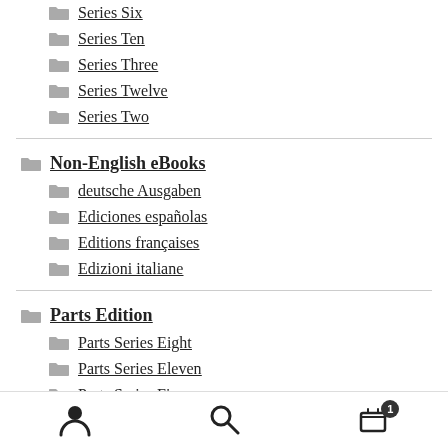Series Six
Series Ten
Series Three
Series Twelve
Series Two
Non-English eBooks
deutsche Ausgaben
Ediciones españolas
Editions françaises
Edizioni italiane
Parts Edition
Parts Series Eight
Parts Series Eleven
Parts Series Five
Parts Series Four
User | Search | Cart (1)